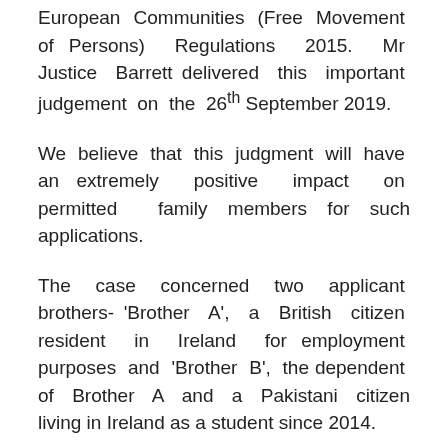European Communities (Free Movement of Persons) Regulations 2015. Mr Justice Barrett delivered this important judgement on the 26th September 2019.
We believe that this judgment will have an extremely positive impact on permitted family members for such applications.
The case concerned two applicant brothers- 'Brother A', a British citizen resident in Ireland for employment purposes and 'Brother B', the dependent of Brother A and a Pakistani citizen living in Ireland as a student since 2014.
The High Court found that the Minister's refusal of the application for an EU residence card for the dependent brother was unreasonable and to